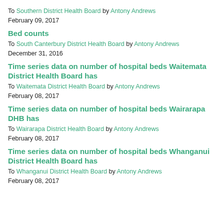To Southern District Health Board by Antony Andrews
February 09, 2017
Bed counts
To South Canterbury District Health Board by Antony Andrews
December 31, 2016
Time series data on number of hospital beds Waitemata District Health Board has
To Waitemata District Health Board by Antony Andrews
February 08, 2017
Time series data on number of hospital beds Wairarapa DHB has
To Wairarapa District Health Board by Antony Andrews
February 08, 2017
Time series data on number of hospital beds Whanganui District Health Board has
To Whanganui District Health Board by Antony Andrews
February 08, 2017